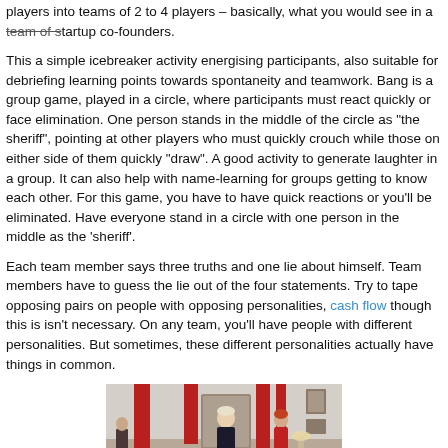players into teams of 2 to 4 players – basically, what you would see in a team of startup co-founders.
This a simple icebreaker activity energising participants, also suitable for debriefing learning points towards spontaneity and teamwork. Bang is a group game, played in a circle, where participants must react quickly or face elimination. One person stands in the middle of the circle as "the sheriff", pointing at other players who must quickly crouch while those on either side of them quickly "draw". A good activity to generate laughter in a group. It can also help with name-learning for groups getting to know each other. For this game, you have to have quick reactions or you'll be eliminated. Have everyone stand in a circle with one person in the middle as the 'sheriff'.
Each team member says three truths and one lie about himself. Team members have to guess the lie out of the four statements. Try to tape opposing pairs on people with opposing personalities, cash flow though this is isn't necessary. On any team, you'll have people with different personalities. But sometimes, these different personalities actually have things in common.
[Figure (photo): Photo of people standing in a room with red curtains, appears to be an indoor scene with two or more people visible.]